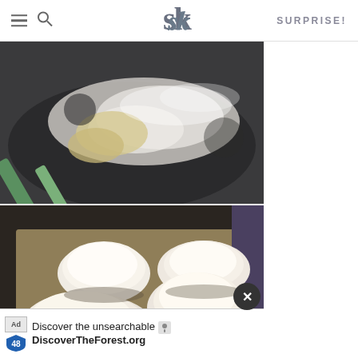SK logo | SURPRISE!
[Figure (photo): A bowl with dough being mixed, flour being added with a green spatula]
[Figure (photo): Four dough balls resting on parchment paper on a baking sheet]
[Figure (photo): Ad banner: Discover the unsearchable - DiscoverTheForest.org with people hiking in a forest]